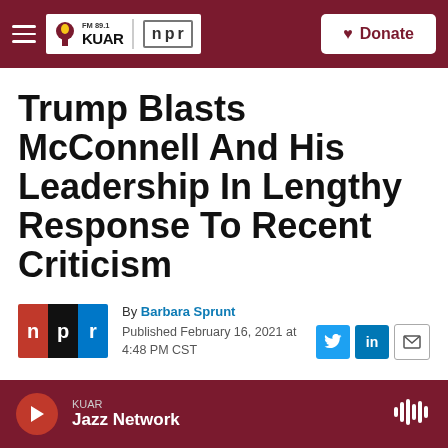FM 89.1 KUAR | NPR | Donate
Trump Blasts McConnell And His Leadership In Lengthy Response To Recent Criticism
By Barbara Sprunt
Published February 16, 2021 at 4:48 PM CST
KUAR Jazz Network